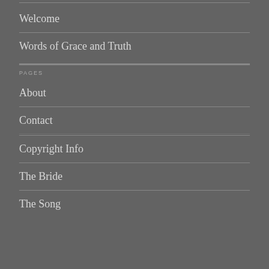Welcome
Words of Grace and Truth
PAGES
About
Contact
Copyright Info
The Bride
The Song